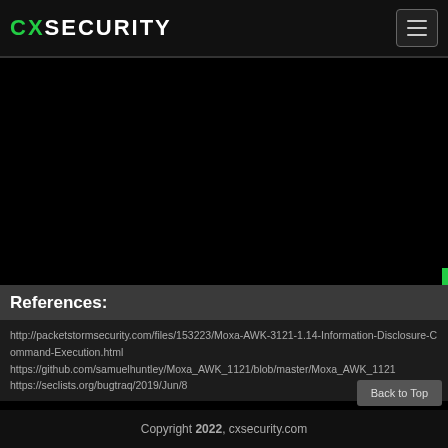CXSECURITY
References:
http://packetstormsecurity.com/files/153223/Moxa-AWK-3121-1.14-Information-Disclosure-Command-Execution.html
https://github.com/samuelhuntley/Moxa_AWK_1121/blob/master/Moxa_AWK_1121
https://seclists.org/bugtraq/2019/Jun/8
Copyright 2022, cxsecurity.com